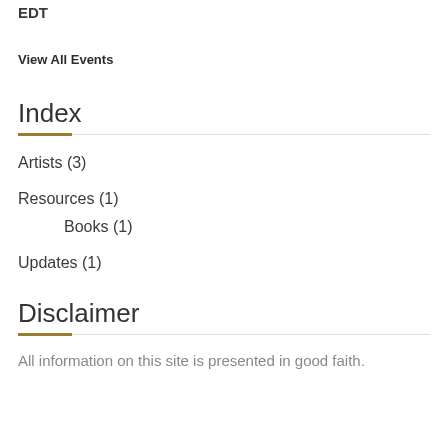EDT
View All Events
Index
Artists (3)
Resources (1)
Books (1)
Updates (1)
Disclaimer
All information on this site is presented in good faith.